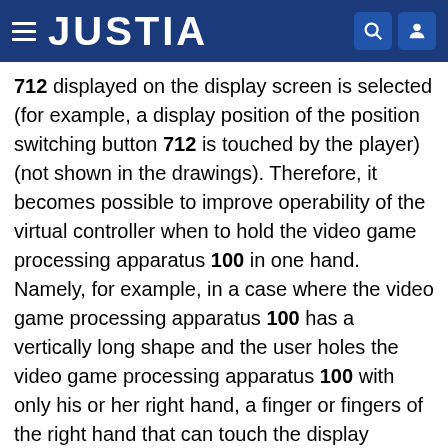JUSTIA
712 displayed on the display screen is selected (for example, a display position of the position switching button 712 is touched by the player) (not shown in the drawings). Therefore, it becomes possible to improve operability of the virtual controller when to hold the video game processing apparatus 100 in one hand. Namely, for example, in a case where the video game processing apparatus 100 has a vertically long shape and the user holes the video game processing apparatus 100 with only his or her right hand, a finger or fingers of the right hand that can touch the display screen of the display section 13 is basically only a thumb. For that reason, it is preferable that the virtual controller IC and the virtual buttons that are used frequently are respectively arranged at positions near the thumb. The same holds true for the case where the user holds a vertically long terminal with only his or her